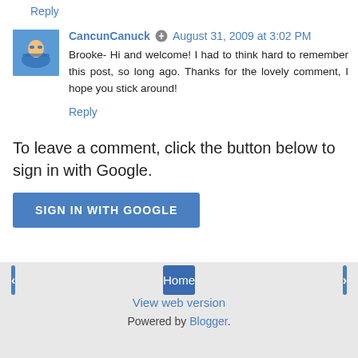Reply
CancunCanuck  August 31, 2009 at 3:02 PM
[Figure (photo): Small avatar photo of a person swimming or snorkeling, with blue water background]
Brooke- Hi and welcome! I had to think hard to remember this post, so long ago. Thanks for the lovely comment, I hope you stick around!
Reply
To leave a comment, click the button below to sign in with Google.
SIGN IN WITH GOOGLE
Home
View web version
Powered by Blogger.